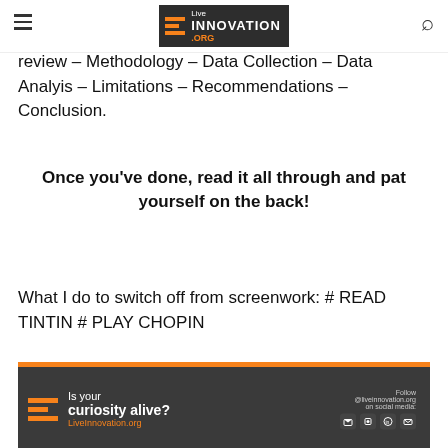Live INNOVATION .ORG
review – Methodology – Data Collection – Data Analyis – Limitations – Recommendations – Conclusion.
Once you've done, read it all through and pat yourself on the back!
What I do to switch off from screenwork: # READ TINTIN # PLAY CHOPIN
[Figure (logo): LiveInnovation.org banner advertisement with tagline 'Is your curiosity alive?' and social media icons]